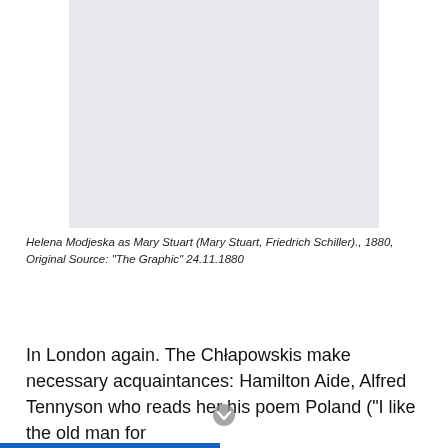[Figure (photo): Gray placeholder rectangle representing a photograph of Helena Modjeska as Mary Stuart]
Helena Modjeska as Mary Stuart (Mary Stuart, Friedrich Schiller)., 1880, Original Source: "The Graphic" 24.11.1880
In London again. The Chłapowskis make necessary acquaintances: Hamilton Aide, Alfred Tennyson who reads her his poem Poland ("I like the old man for